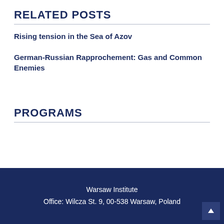RELATED POSTS
Rising tension in the Sea of Azov
German-Russian Rapprochement: Gas and Common Enemies
PROGRAMS
Warsaw Institute
Office: Wilcza St. 9, 00-538 Warsaw, Poland